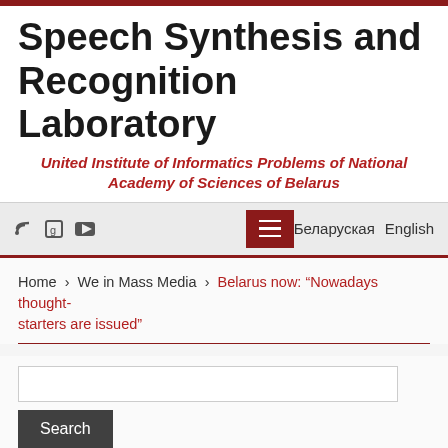Speech Synthesis and Recognition Laboratory
United Institute of Informatics Problems of National Academy of Sciences of Belarus
Navigation bar with icons, menu button, Беларуская English language links
Home › We in Mass Media › Belarus now: “Nowadays thought-starters are issued”